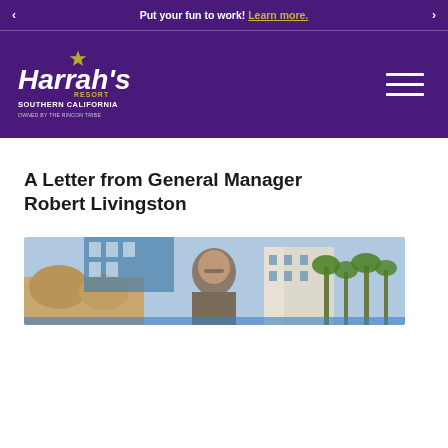Put your fun to work! Learn more.
[Figure (logo): Harrah's Resort Southern California logo — white and gold text on purple background, with hamburger menu icon on right]
A Letter from General Manager Robert Livingston
[Figure (photo): Outdoor photo of General Manager Robert Livingston smiling, with resort pool area, palm trees, and hotel building in background]